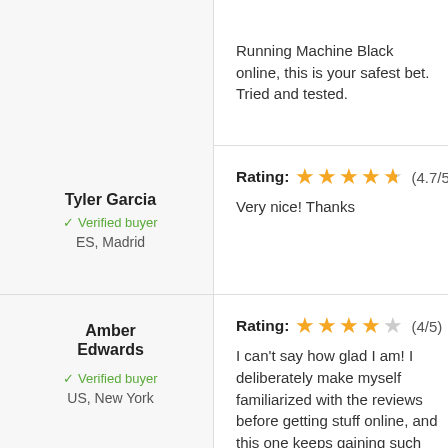Running Machine Black online, this is your safest bet. Tried and tested.
Tyler Garcia
Verified buyer
ES, Madrid
Rating: (4.7/5)
Very nice! Thanks
Amber Edwards
Verified buyer
US, New York
Rating: (4/5)
I can't say how glad I am! I deliberately make myself familiarized with the reviews before getting stuff online, and this one keeps gaining such great reviews I couldn-t refuse. It-s incredibly admirable, the image doesn-t do it justice. I-ve got a lot of praises for it. It is incredibly